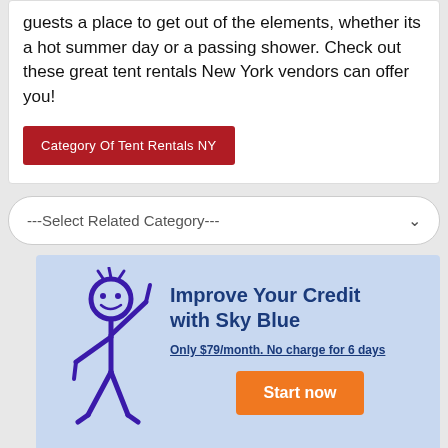guests a place to get out of the elements, whether its a hot summer day or a passing shower. Check out these great tent rentals New York vendors can offer you!
Category Of Tent Rentals NY
---Select Related Category---
[Figure (illustration): Advertisement banner with light blue background. A purple stick figure character points upward. Text reads: Improve Your Credit with Sky Blue. Only $79/month. No charge for 6 days. Orange Start now button.]